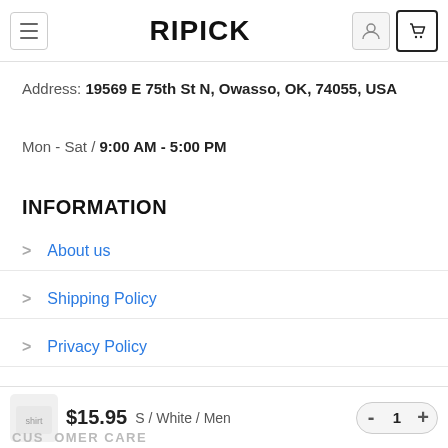RIPICK
Address: 19569 E 75th St N, Owasso, OK, 74055, USA
Mon - Sat / 9:00 AM - 5:00 PM
INFORMATION
About us
Shipping Policy
Privacy Policy
Terms of conditions
$15.95  S / White / Men  1